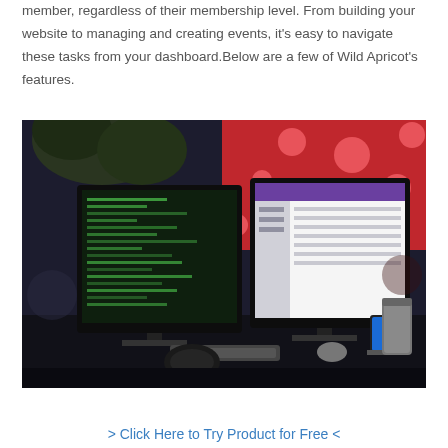member, regardless of their membership level. From building your website to managing and creating events, it's easy to navigate these tasks from your dashboard.Below are a few of Wild Apricot's features.
[Figure (photo): A desk setup with two monitors displaying code and a calendar/productivity app, with headphones, a phone on a stand, a canister, and a red polka-dot background with a plant.]
> Click Here to Try Product for Free <